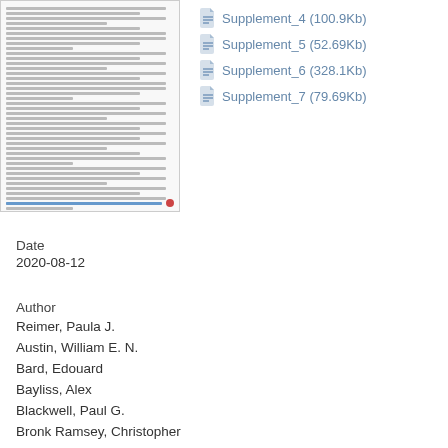[Figure (screenshot): Thumbnail of a document page showing dense text content and a colored footer bar]
Supplement_4 (100.9Kb)
Supplement_5 (52.69Kb)
Supplement_6 (328.1Kb)
Supplement_7 (79.69Kb)
Date
2020-08-12
Author
Reimer, Paula J.
Austin, William E. N.
Bard, Edouard
Bayliss, Alex
Blackwell, Paul G.
Bronk Ramsey, Christopher
Butzin, Martin
Cheng, Hai
Edwards, R. Lawrence
Friedrich, Michael
Grootes, Pieter M.
Guilderson, Thomas P.